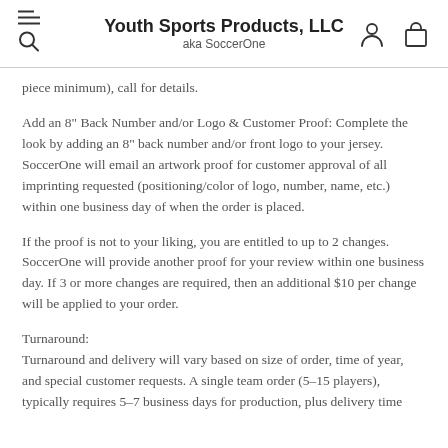Youth Sports Products, LLC aka SoccerOne
piece minimum), call for details.
Add an 8" Back Number and/or Logo & Customer Proof: Complete the look by adding an 8" back number and/or front logo to your jersey. SoccerOne will email an artwork proof for customer approval of all imprinting requested (positioning/color of logo, number, name, etc.) within one business day of when the order is placed.
If the proof is not to your liking, you are entitled to up to 2 changes. SoccerOne will provide another proof for your review within one business day. If 3 or more changes are required, then an additional $10 per change will be applied to your order.
Turnaround: Turnaround and delivery will vary based on size of order, time of year, and special customer requests. A single team order (5–15 players), typically requires 5–7 business days for production, plus delivery time